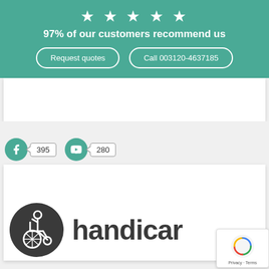[Figure (infographic): Five white star icons on teal background]
97% of our customers recommend us
Request quotes | Call 003120-4637185
395
280
[Figure (logo): Handicare logo with wheelchair user icon and 'handicar' text (partially cropped)]